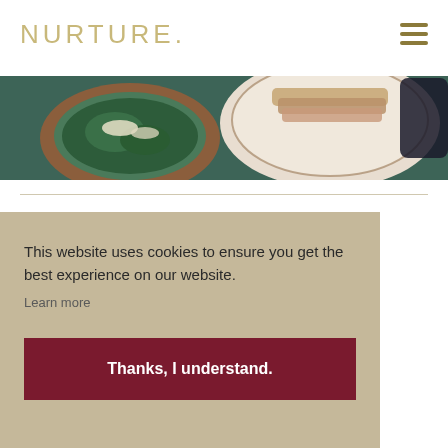NURTURE.
[Figure (photo): Overhead view of food dishes — a bowl with greens and cheese, and a decorative plate with stacked items, on a teal/green surface]
This website uses cookies to ensure you get the best experience on our website.
Learn more
Thanks, I understand.